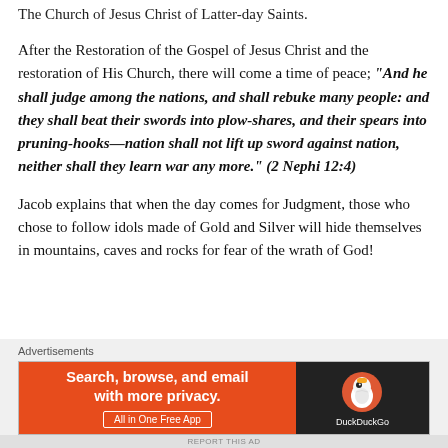The Church of Jesus Christ of Latter-day Saints.
After the Restoration of the Gospel of Jesus Christ and the restoration of His Church, there will come a time of peace; “And he shall judge among the nations, and shall rebuke many people: and they shall beat their swords into plow-shares, and their spears into pruning-hooks—nation shall not lift up sword against nation, neither shall they learn war any more.” (2 Nephi 12:4)
Jacob explains that when the day comes for Judgment, those who chose to follow idols made of Gold and Silver will hide themselves in mountains, caves and rocks for fear of the wrath of God!
[Figure (screenshot): DuckDuckGo advertisement banner: orange left panel with text 'Search, browse, and email with more privacy. All in One Free App' and dark right panel with DuckDuckGo duck logo and brand name.]